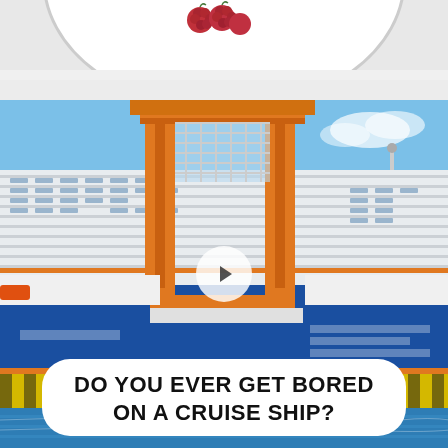[Figure (photo): Top portion of a food photo showing a white plate with raspberries, partially cut off at top of frame]
[Figure (photo): Large cruise ship docked at port with orange and white exterior, orange structural pillars/gangway, blue hull, clear blue sky. A yellow dock/pier is visible at the bottom with water beneath. A video play button overlay is centered on the image.]
DO YOU EVER GET BORED ON A CRUISE SHIP?